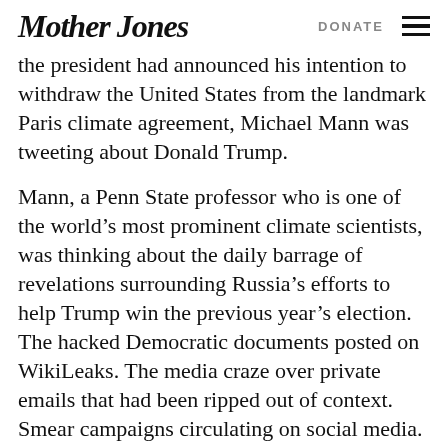Mother Jones | DONATE
the president had announced his intention to withdraw the United States from the landmark Paris climate agreement, Michael Mann was tweeting about Donald Trump.
Mann, a Penn State professor who is one of the world’s most prominent climate scientists, was thinking about the daily barrage of revelations surrounding Russia’s efforts to help Trump win the previous year’s election. The hacked Democratic documents posted on WikiLeaks. The media craze over private emails that had been ripped out of context. Smear campaigns circulating on social media.